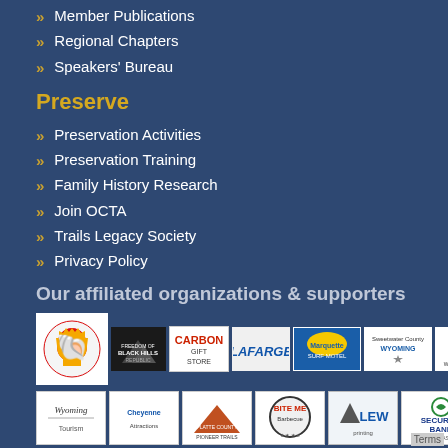Member Publications
Regional Chapters
Speakers' Bureau
Preserve
Preservation Activities
Preservation Training
Family History Research
Join OCTA
Trails Legacy Society
Privacy Policy
Our affiliated organizations & supporters
[Figure (logo): Row of sponsor/affiliate logos including Shell, Black Hills, Carbon Gift Store, Lafarge, Marquette Surf Motel, Sweetwater County Wyoming, Wagon Wheel Cafe]
[Figure (logo): Row of sponsor/affiliate logos including Wyoming, Cheyenne, Platte County, Bite Me Barbecue, LEW Printing, Security Bank of Kansas City, orange logo, reCAPTCHA]